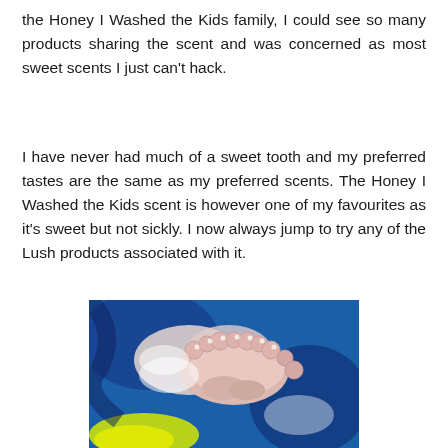the Honey I Washed the Kids family, I could see so many products sharing the scent and was concerned as most sweet scents I just can't hack.
I have never had much of a sweet tooth and my preferred tastes are the same as my preferred scents. The Honey I Washed the Kids scent is however one of my favourites as it's sweet but not sickly. I now always jump to try any of the Lush products associated with it.
[Figure (photo): A bath bomb dissolving in blue and yellow colored water, with a pink/white foamy product surrounded by bubbles, photographed from above.]